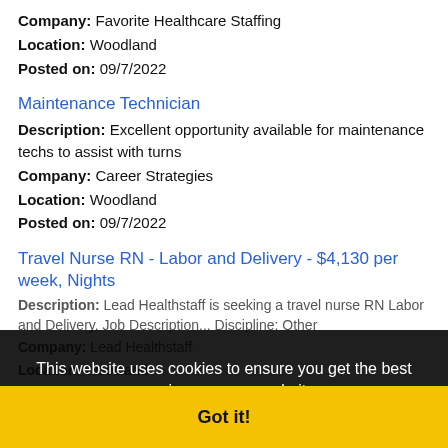Company: Favorite Healthcare Staffing
Location: Woodland
Posted on: 09/7/2022
Maintenance Technician
Description: Excellent opportunity available for maintenance techs to assist with turns
Company: Career Strategies
Location: Woodland
Posted on: 09/7/2022
Travel Nurse RN - Labor and Delivery - $4,130 per week, Nights
Description: Lead Healthstaff is seeking a travel nurse RN Labor and Delivery. Job Description...
Company: Lead Healthstaff
Location: Woodland
Posted on: 09/7/2022
FT Customer Support Agent (Work-From-Home)
Description: Customer Service Remote - Anywhere(US) $/ Competitive Pay - As a Customer Support
This website uses cookies to ensure you get the best experience on our website. Learn more
Got it!